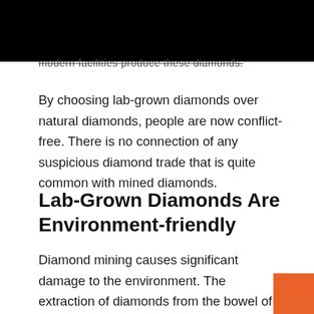[Figure (other): Black rectangle covering the top portion of the page, obscuring content above]
modern facilities produce these diamonds.
By choosing lab-grown diamonds over natural diamonds, people are now conflict-free. There is no connection of any suspicious diamond trade that is quite common with mined diamonds.
Lab-Grown Diamonds Are Environment-friendly
Diamond mining causes significant damage to the environment. The extraction of diamonds from the bowel of the earth damages the ecological balance and is fossil fuel-intensive.
[Figure (other): Orange square in the bottom-right corner]